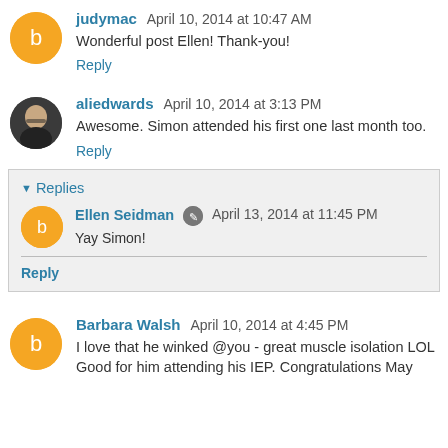judymac April 10, 2014 at 10:47 AM
Wonderful post Ellen! Thank-you!
Reply
[Figure (photo): Profile photo of aliedwards - woman with glasses]
aliedwards April 10, 2014 at 3:13 PM
Awesome. Simon attended his first one last month too.
Reply
Replies
Ellen Seidman April 13, 2014 at 11:45 PM
Yay Simon!
Reply
Barbara Walsh April 10, 2014 at 4:45 PM
I love that he winked @you - great muscle isolation LOL Good for him attending his IEP. Congratulations May